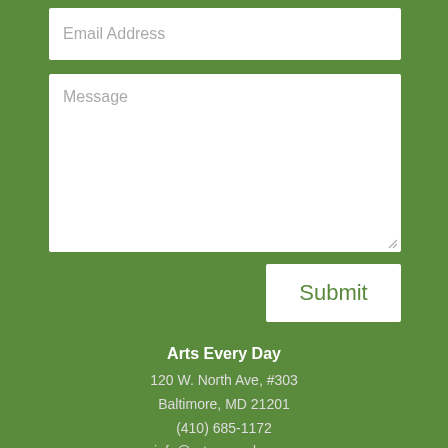[Figure (screenshot): Email address input field with placeholder text 'Email Address' on green background]
[Figure (screenshot): Message textarea with placeholder text 'Message' on green background with resize handle]
[Figure (screenshot): Submit button in white with green text 'Submit']
Arts Every Day
120 W. North Ave, #303
Baltimore, MD 21201
(410) 685-1172
info@artseveryday.org